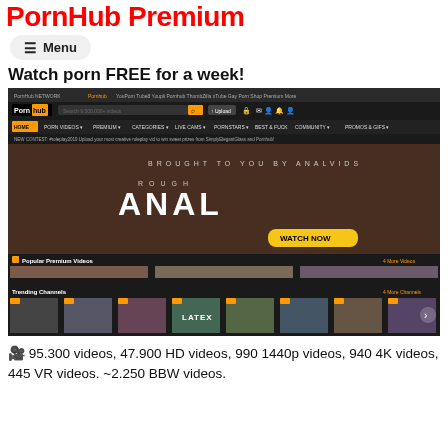PornHub Premium
≡ Menu
Watch porn FREE for a week!
[Figure (screenshot): Screenshot of PornHub Premium website showing navigation bar, a 'Rough Anal' banner advertisement with a WATCH NOW button, Popular Premium Videos section with three video thumbnails, and Trending Channels section at the bottom.]
🎥 95.300 videos, 47.900 HD videos, 990 1440p videos, 940 4K videos, 445 VR videos. ~2.250 BBW videos.